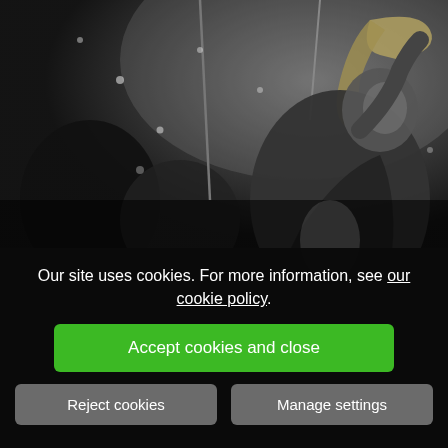[Figure (photo): Black and white photograph of jazz musicians performing, with a man playing a trombone prominently visible in the foreground, angled upward, with microphones and other musicians visible in the background.]
Our site uses cookies. For more information, see our cookie policy.
Accept cookies and close
Reject cookies
Manage settings